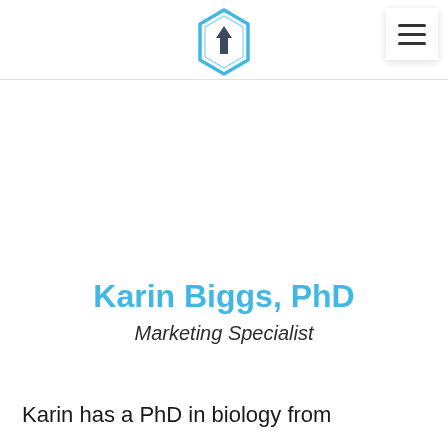[Figure (logo): Hexagonal shield logo with upward arrow in teal/blue color]
Karin Biggs, PhD
Marketing Specialist
Karin has a PhD in biology from